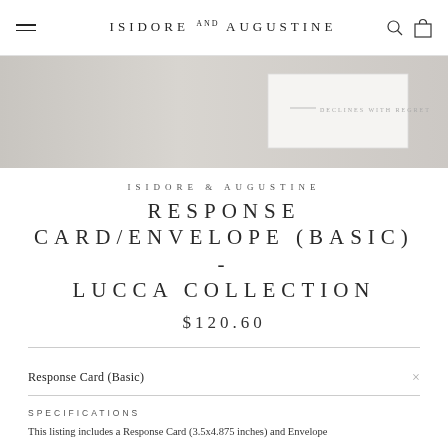ISIDORE AND AUGUSTINE
[Figure (photo): Hero product photo showing a white response card with 'DECLINES WITH REGRET' text on a grey background]
ISIDORE & AUGUSTINE
RESPONSE CARD/ENVELOPE (BASIC) - LUCCA COLLECTION
$120.60
Response Card (Basic)
SPECIFICATIONS
This listing includes a Response Card (3.5x4.875 inches) and Envelope